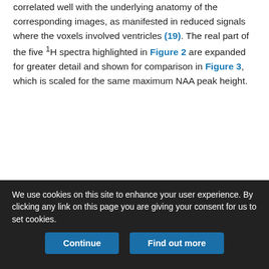correlated well with the underlying anatomy of the corresponding images, as manifested in reduced signals where the voxels involved ventricles (19). The real part of the five 1H spectra highlighted in Figure 2 are expanded for greater detail and shown for comparison in Figure 3, which is scaled for the same maximum NAA peak height.
[Figure (other): A white rectangle (figure panel area) inside a gray border box, representing an empty or placeholder figure area clipped at the bottom of the visible page.]
We use cookies on this site to enhance your user experience. By clicking any link on this page you are giving your consent for us to set cookies.